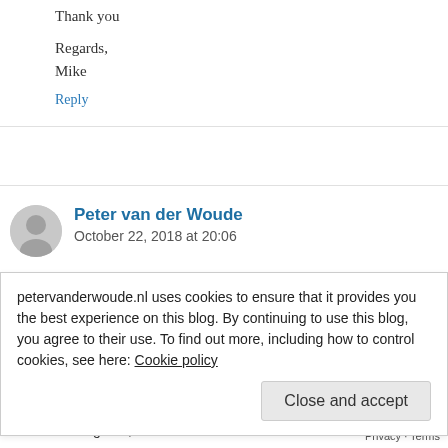Thank you
Regards,
Mike
Reply
Peter van der Woude
October 22, 2018 at 20:06
petervanderwoude.nl uses cookies to ensure that it provides you the best experience on this blog. By continuing to use this blog, you agree to their use. To find out more, including how to control cookies, see here: Cookie policy
Close and accept
us/intune/app-configuration-managed-brows...
Regards, Peter
Privacy · Terms